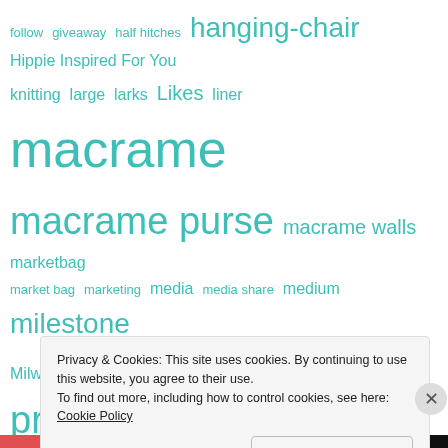[Figure (infographic): Tag cloud with words in teal/turquoise color at various font sizes including: follow, giveaway, half hitches, hanging-chair, Hippie Inspired For You, knitting, large, larks, Likes, liner, macrame, macrame purse, macrame walls, marketbag, market bag, marketing, media, media share, medium, milestone, Milwaukee Brewers, pattern, patterns, pocket, promote, purse, purses, roomy, sale, share, shop, shoulder bag, shoulder strap, size, spring, square knots, strap, style, summer, tan, technology, tote, travel, vacation, white, wood handle]
Privacy & Cookies: This site uses cookies. By continuing to use this website, you agree to their use.
To find out more, including how to control cookies, see here: Cookie Policy
Close and accept